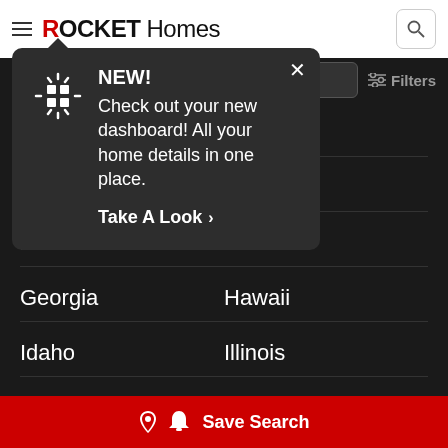[Figure (screenshot): Rocket Homes website header with hamburger menu, ROCKET Homes logo, and search icon]
[Figure (screenshot): Notification popup: NEW! Check out your new dashboard! All your home details in one place. Take A Look >]
California
Colorado
Connecticut
Delaware
District of Columbia
Florida
Georgia
Hawaii
Idaho
Illinois
Indiana
Iowa
Save Search